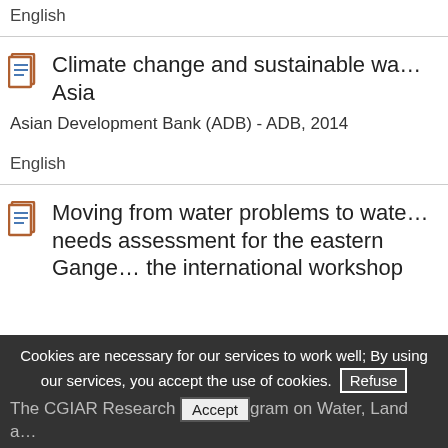English
Climate change and sustainable water management in Asia
Asian Development Bank (ADB) - ADB, 2014
English
Moving from water problems to water needs assessment for the eastern Gange... the international workshop
Cookies are necessary for our services to work well; By using our services, you accept the use of cookies.
The CGIAR Research Program on Water, Land a...